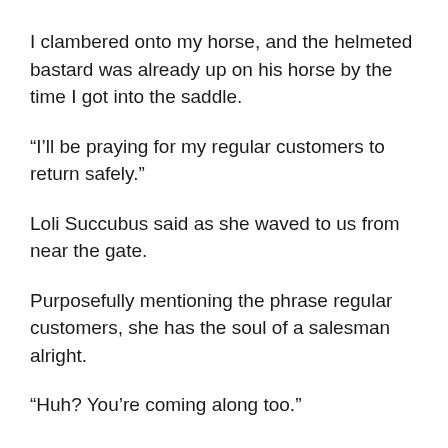I clambered onto my horse, and the helmeted bastard was already up on his horse by the time I got into the saddle.
“I’ll be praying for my regular customers to return safely.”
Loli Succubus said as she waved to us from near the gate.
Purposefully mentioning the phrase regular customers, she has the soul of a salesman alright.
“Huh? You’re coming along too.”
I grabbed her waving hand and pulled her up without waiting for an answer.
After securing her in front of me, I set off